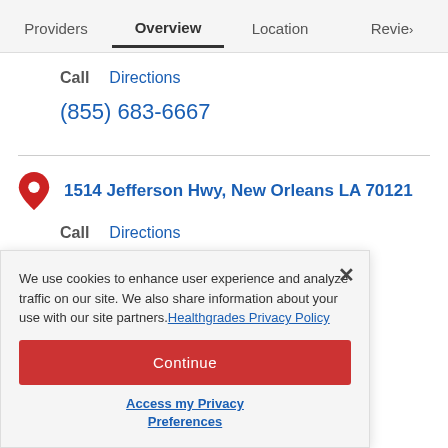Providers | Overview | Location | Revie>
Call  Directions
(855) 683-6667
1514 Jefferson Hwy, New Orleans LA 70121
Call  Directions
70121
We use cookies to enhance user experience and analyze traffic on our site. We also share information about your use with our site partners. Healthgrades Privacy Policy
Continue
Access my Privacy Preferences